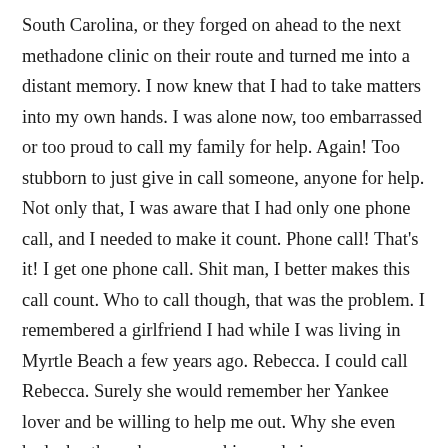South Carolina, or they forged on ahead to the next methadone clinic on their route and turned me into a distant memory. I now knew that I had to take matters into my own hands. I was alone now, too embarrassed or too proud to call my family for help. Again! Too stubborn to just give in call someone, anyone for help. Not only that, I was aware that I had only one phone call, and I needed to make it count. Phone call! That's it! I get one phone call. Shit man, I better makes this call count. Who to call though, that was the problem. I remembered a girlfriend I had while I was living in Myrtle Beach a few years ago. Rebecca. I could call Rebecca. Surely she would remember her Yankee lover and be willing to help me out. Why she even had a brother who was working a chain gang, so surely she